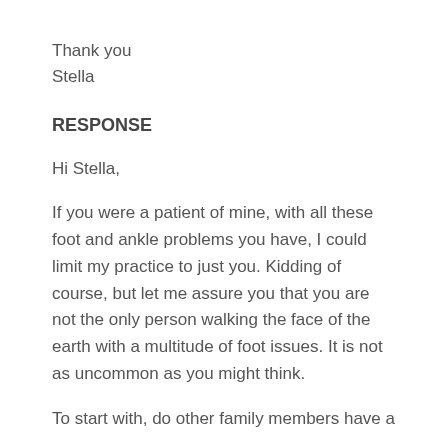Thank you
Stella
RESPONSE
Hi Stella,
If you were a patient of mine, with all these foot and ankle problems you have, I could limit my practice to just you. Kidding of course, but let me assure you that you are not the only person walking the face of the earth with a multitude of foot issues. It is not as uncommon as you might think.
To start with, do other family members have a